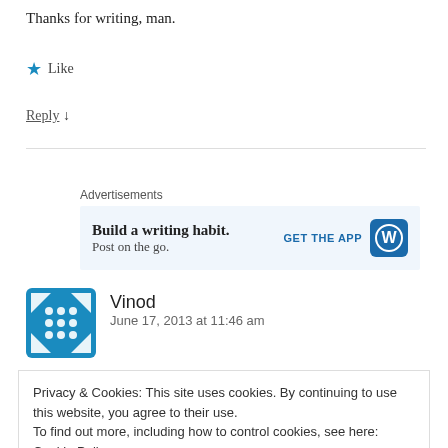Thanks for writing, man.
★ Like
Reply ↓
Advertisements
[Figure (screenshot): Advertisement banner: 'Build a writing habit. Post on the go.' with GET THE APP button and WordPress logo]
Vinod
June 17, 2013 at 11:46 am
Privacy & Cookies: This site uses cookies. By continuing to use this website, you agree to their use.
To find out more, including how to control cookies, see here: Cookie Policy
Close and accept
an objective voice, filled with the joy and music of life, offer